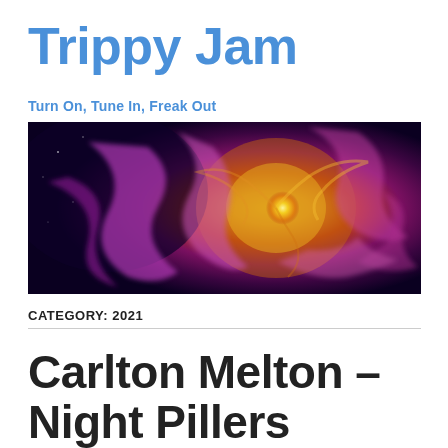Trippy Jam
Turn On, Tune In, Freak Out
[Figure (photo): Psychedelic fractal spiral image with purple and gold colors on a dark background, used as a website banner.]
CATEGORY: 2021
Carlton Melton – Night Pillers (2021)